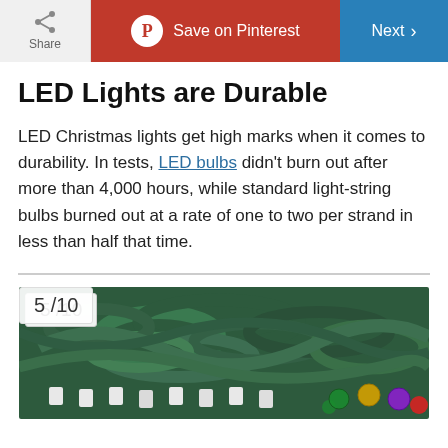Share | Save on Pinterest | Next
LED Lights are Durable
LED Christmas lights get high marks when it comes to durability. In tests, LED bulbs didn't burn out after more than 4,000 hours, while standard light-string bulbs burned out at a rate of one to two per strand in less than half that time.
[Figure (photo): Tangled string of green LED Christmas light strands with colorful bulbs visible at the bottom right, with a page counter overlay showing 5/10]